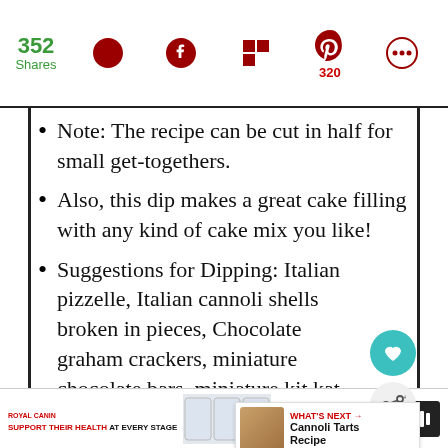352 Shares | Social share icons: Twitter, Facebook, Flipboard, Pinterest (320), circle icon
Note: The recipe can be cut in half for small get-togethers.
Also, this dip makes a great cake filling with any kind of cake mix you like!
Suggestions for Dipping: Italian pizzelle, Italian cannoli shells broken in pieces, Chocolate graham crackers, miniature chocolate bars, miniature kit kat bars, wh... fresh strawberries, plain sugar con... waffle cones broke up, churros, cinnamon flavored pita or tortilla chips, or cinnamon
Royal Canin — SUPPORT THEIR HEALTH AT EVERY STAGE | Ad images | PetSmart